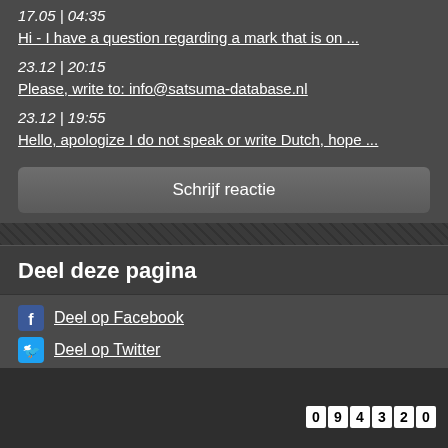17.05 | 04:35
Hi - I have a question regarding a mark that is on ...
23.12 | 20:15
Please, write to: info@satsuma-database.nl
23.12 | 19:55
Hello, apologize I do not speak or write Dutch, hope ...
Schrijf reactie
Deel deze pagina
Deel op Facebook
Deel op Twitter
094320